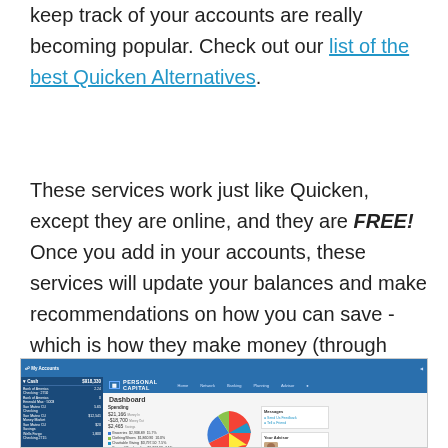keep track of your accounts are really becoming popular. Check out our list of the best Quicken Alternatives.
These services work just like Quicken, except they are online, and they are FREE! Once you add in your accounts, these services will update your balances and make recommendations on how you can save - which is how they make money (through services and advertising).
[Figure (screenshot): Screenshot of Personal Capital dashboard showing My Accounts sidebar, spending summary with $21,166 money in, -$18,700 money out, $2,465 savings, a pie chart of spending categories, and Messages panel with advisor Kyle Ryan.]